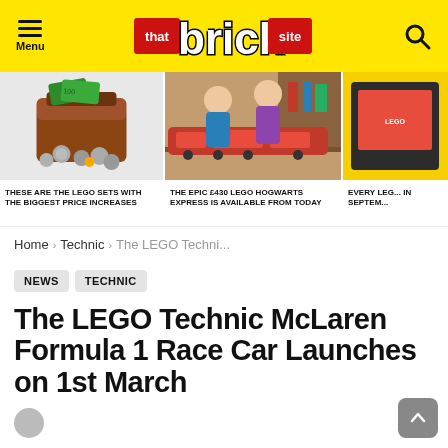That Brick Site - Menu / Logo / Search
[Figure (photo): LEGO treasure chest with green money and coins]
[Figure (photo): Two people with LEGO Hogwarts Express train set]
[Figure (photo): LEGO set box partially visible]
THESE ARE THE LEGO SETS WITH THE BIGGEST PRICE INCREASES
THE EPIC £430 LEGO HOGWARTS EXPRESS IS AVAILABLE FROM TODAY
EVERY LEG... IN SEPTEM...
Home › Technic › The LEGO Techni...
NEWS  TECHNIC
The LEGO Technic McLaren Formula 1 Race Car Launches on 1st March